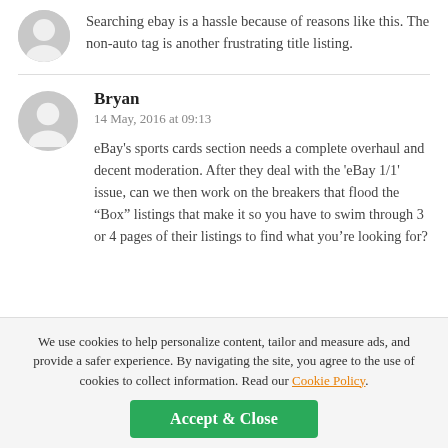Searching ebay is a hassle because of reasons like this. The non-auto tag is another frustrating title listing.
Bryan
14 May, 2016 at 09:13
eBay's sports cards section needs a complete overhaul and decent moderation. After they deal with the 'eBay 1/1' issue, can we then work on the breakers that flood the “Box” listings that make it so you have to swim through 3 or 4 pages of their listings to find what you’re looking for?
We use cookies to help personalize content, tailor and measure ads, and provide a safer experience. By navigating the site, you agree to the use of cookies to collect information. Read our Cookie Policy.
Accept & Close